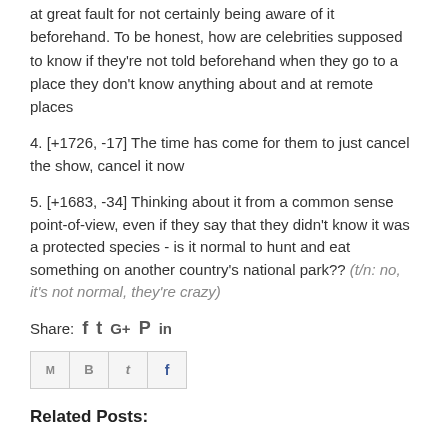at great fault for not certainly being aware of it beforehand. To be honest, how are celebrities supposed to know if they're not told beforehand when they go to a place they don't know anything about and at remote places
4. [+1726, -17] The time has come for them to just cancel the show, cancel it now
5. [+1683, -34] Thinking about it from a common sense point-of-view, even if they say that they didn't know it was a protected species - is it normal to hunt and eat something on another country's national park?? (t/n: no, it's not normal, they're crazy)
Share: f  t  G+  P  in
[Figure (other): Email/share buttons row: M, B, t, f icons in bordered boxes]
Related Posts: